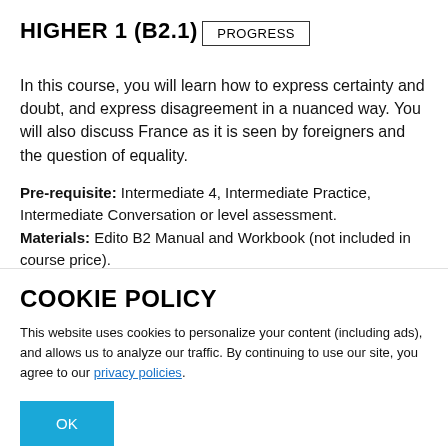HIGHER 1 (B2.1)
PROGRESS
In this course, you will learn how to express certainty and doubt, and express disagreement in a nuanced way. You will also discuss France as it is seen by foreigners and the question of equality.
Pre-requisite: Intermediate 4, Intermediate Practice, Intermediate Conversation or level assessment. Materials: Edito B2 Manual and Workbook (not included in course price).
COOKIE POLICY
This website uses cookies to personalize your content (including ads), and allows us to analyze our traffic. By continuing to use our site, you agree to our privacy policies.
OK